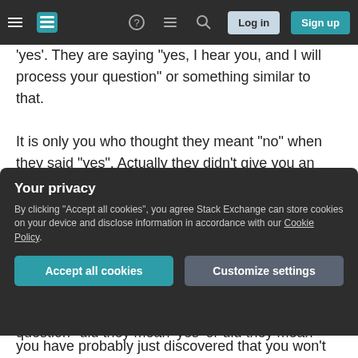Stack Exchange navigation bar with hamburger menu, logo, help, chat, search icons, Log in and Sign up buttons
'yes'. They are saying "yes, I hear you, and I will process your question" or something similar to that.
It is only you who thought they meant "no" when they said "yes". Actually they didn't give you an answer yet: that is the important thing to realise.
It is actually similar in this respect to the side to side headshake of Indian culture.
When you hear "yes" you aren't faced with the question "did they mean 'yes' or did they mean
Your privacy
By clicking "Accept all cookies", you agree Stack Exchange can store cookies on your device and disclose information in accordance with our Cookie Policy.
Accept all cookies   Customize settings
you have probably just discovered that you won't be